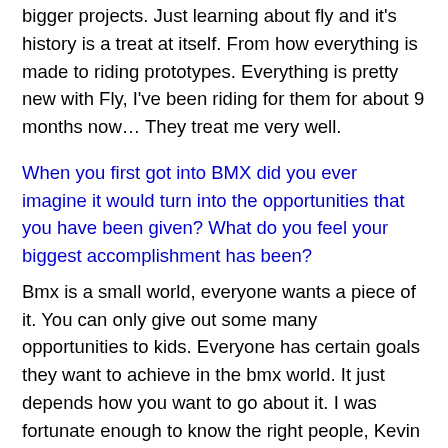bigger projects. Just learning about fly and it's history is a treat at itself. From how everything is made to riding prototypes. Everything is pretty new with Fly, I've been riding for them for about 9 months now… They treat me very well.
When you first got into BMX did you ever imagine it would turn into the opportunities that you have been given? What do you feel your biggest accomplishment has been?
Bmx is a small world, everyone wants a piece of it. You can only give out some many opportunities to kids. Everyone has certain goals they want to achieve in the bmx world. It just depends how you want to go about it. I was fortunate enough to know the right people, Kevin Porter had a huge impact in bringing me into the bmx world. If you do your own thing with out worrying what people think then you will be